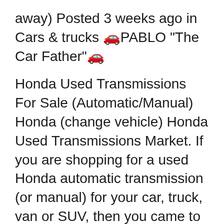away) Posted 3 weeks ago in Cars & trucks 🚗PABLO "The Car Father"🚗
Honda Used Transmissions For Sale (Automatic/Manual) Honda (change vehicle) Honda Used Transmissions Market. If you are shopping for a used Honda automatic transmission (or manual) for your car, truck, van or SUV, then you came to the right place. Our network of salvage yards offers high quality Honda auto or truck transmissions with low Here are the top Honda Civic Si for Sale ASAP. View photos, features and more. What will be your next ride? 2013 Honda Civic - Sporty with all the features. The body styling still looks exceptionally clean